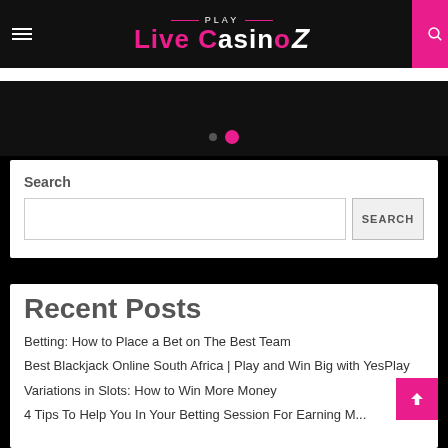Play Live CasinoZ
Search
Recent Posts
Betting: How to Place a Bet on The Best Team
Best Blackjack Online South Africa | Play and Win Big with YesPlay
Variations in Slots: How to Win More Money
4 Tips To Help You In Your Betting Session For Earning Money